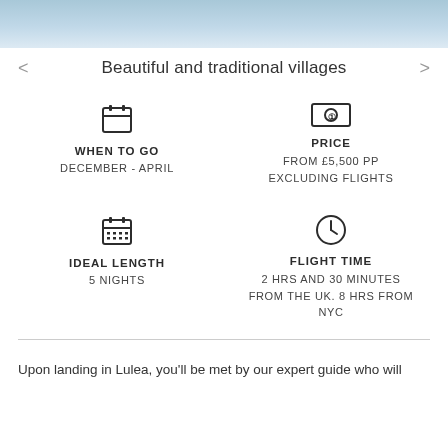[Figure (photo): Sky/cloud banner image at top of page]
Beautiful and traditional villages
WHEN TO GO
DECEMBER - APRIL
PRICE
FROM £5,500 PP
EXCLUDING FLIGHTS
IDEAL LENGTH
5 NIGHTS
FLIGHT TIME
2 HRS AND 30 MINUTES FROM THE UK. 8 HRS FROM NYC
Upon landing in Lulea, you'll be met by our expert guide who will